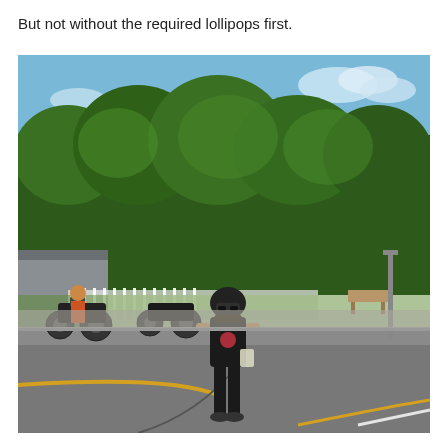But not without the required lollipops first.
[Figure (photo): A woman wearing a helmet and sunglasses, dressed in a black tank top and black pants, standing in the middle of a road holding a bag. In the background there are motorcycles parked near a building, trees, and a clear blue sky. Yellow lane markings are visible on the road.]